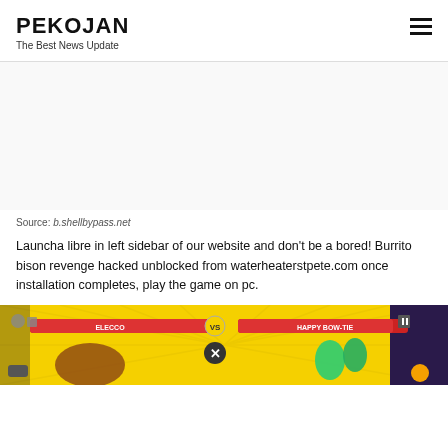PEKOJAN
The Best News Update
[Figure (other): Advertisement / empty ad block area]
Source: b.shellbypass.net
Launcha libre in left sidebar of our website and don't be a bored! Burrito bison revenge hacked unblocked from waterheaterstpete.com once installation completes, play the game on pc.
[Figure (screenshot): Screenshot of a video game (Burrito Bison Revenge) showing yellow background, game characters, health bars with fighter names ELECCO and HAPPY BOW-TIE, and a game over/close button]